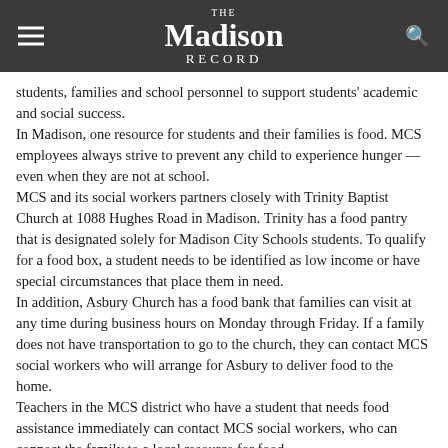The Madison Record
students, families and school personnel to support students' academic and social success.
In Madison, one resource for students and their families is food. MCS employees always strive to prevent any child to experience hunger — even when they are not at school.
MCS and its social workers partners closely with Trinity Baptist Church at 1088 Hughes Road in Madison. Trinity has a food pantry that is designated solely for Madison City Schools students. To qualify for a food box, a student needs to be identified as low income or have special circumstances that place them in need.
In addition, Asbury Church has a food bank that families can visit at any time during business hours on Monday through Friday. If a family does not have transportation to go to the church, they can contact MCS social workers who will arrange for Asbury to deliver food to the home.
Teachers in the MCS district who have a student that needs food assistance immediately can contact MCS social workers, who can connect the family to a local resource for food.
Other responsibilities for social workers are McKinney-Vento student families (so named because a legislative act). The